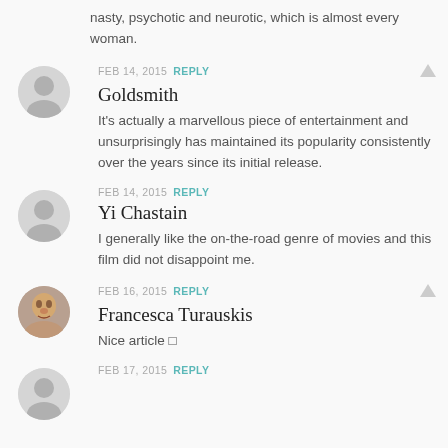nasty, psychotic and neurotic, which is almost every woman.
FEB 14, 2015 REPLY
Goldsmith
It's actually a marvellous piece of entertainment and unsurprisingly has maintained its popularity consistently over the years since its initial release.
FEB 14, 2015 REPLY
Yi Chastain
I generally like the on-the-road genre of movies and this film did not disappoint me.
FEB 16, 2015 REPLY
Francesca Turauskis
Nice article 🙂
FEB 17, 2015 REPLY